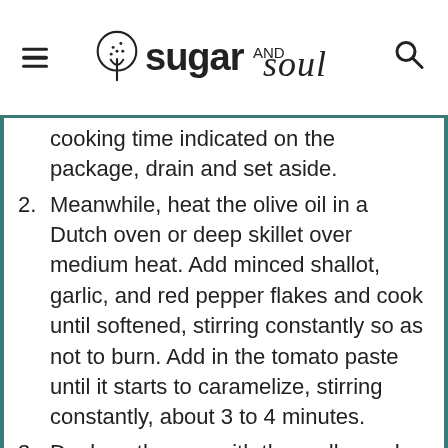sugar and soul
cooking time indicated on the package, drain and set aside.
2. Meanwhile, heat the olive oil in a Dutch oven or deep skillet over medium heat. Add minced shallot, garlic, and red pepper flakes and cook until softened, stirring constantly so as not to burn. Add in the tomato paste until it starts to caramelize, stirring constantly, about 3 to 4 minutes.
3. Deglaze the pan with the vodka and scrape all the dark bits off the bottom of the pan.
4. Add in the crushed tomatoes and simmer until reduced, about 5 to 7 minutes.